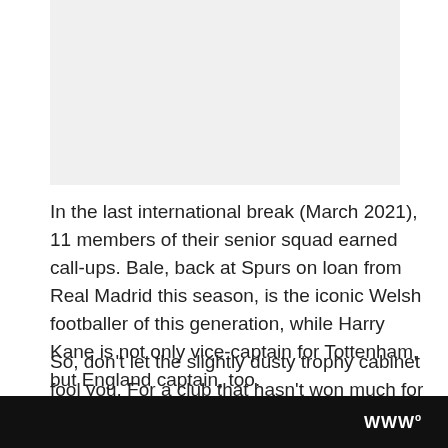[Figure (photo): Image placeholder at top of page]
In the last international break (March 2021), 11 members of their senior squad earned call-ups. Bale, back at Spurs on loan from Real Madrid this season, is the iconic Welsh footballer of this generation, while Harry Kane is not only vice-captain for Tottenham, but England captain, too.
So, don't let the slightly dusty trophy cabinet fool you. For a club that hasn't won much for a while, the facts ou... if not 'S...
WWW°